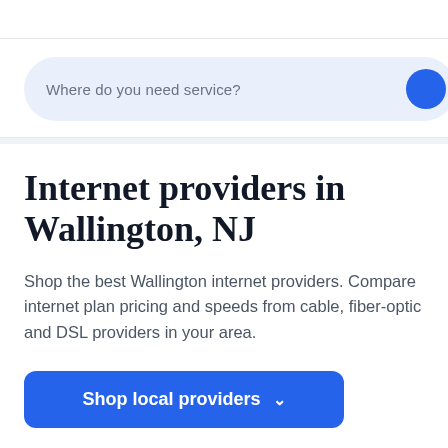[Figure (screenshot): Search bar with placeholder text 'Where do you need service?' and a blue circular button on the right, on a light blue/grey rounded pill background]
Internet providers in Wallington, NJ
Shop the best Wallington internet providers. Compare internet plan pricing and speeds from cable, fiber-optic and DSL providers in your area.
Shop local providers